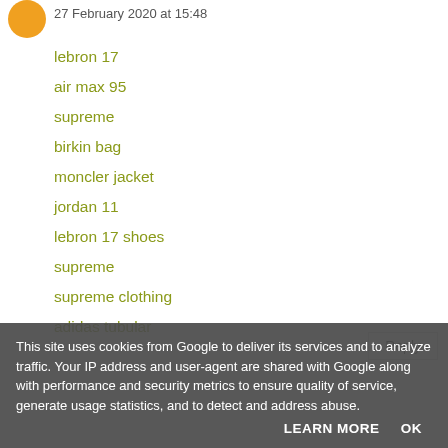27 February 2020 at 15:48
lebron 17
air max 95
supreme
birkin bag
moncler jacket
jordan 11
lebron 17 shoes
supreme
supreme clothing
adidas tubular
Reply
This site uses cookies from Google to deliver its services and to analyze traffic. Your IP address and user-agent are shared with Google along with performance and security metrics to ensure quality of service, generate usage statistics, and to detect and address abuse.
LEARN MORE   OK